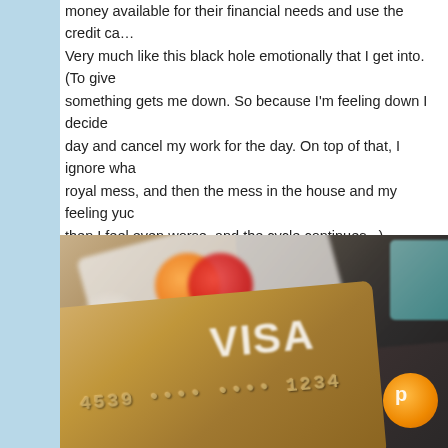money available for their financial needs and use the credit ca... Very much like this black hole emotionally that I get into. (To give something gets me down. So because I'm feeling down I decide day and cancel my work for the day. On top of that, I ignore wha royal mess, and then the mess in the house and my feeling yuc then I feel even worse, and the cycle continues...)
[Figure (photo): Close-up photo of credit cards fanned out, showing a gold/tan Visa card in the foreground with embossed numbers, an orange MasterCard chip visible in the upper left background, and a dark card behind. An orange circular logo partially visible on the right side.]